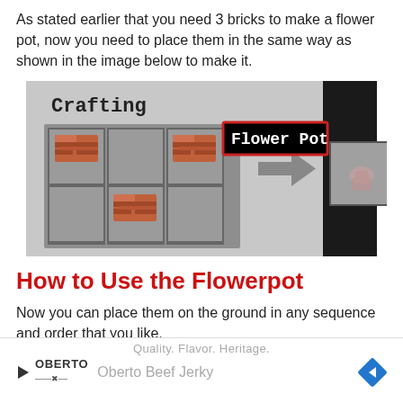As stated earlier that you need 3 bricks to make a flower pot, now you need to place them in the same way as shown in the image below to make it.
[Figure (screenshot): Minecraft crafting grid screenshot showing 3 bricks placed in a flower-pot pattern (two in top row at positions 1 and 3, one in middle row at position 2), with an arrow pointing to the Flower Pot result. A tooltip shows 'Flower Pot'.]
How to Use the Flowerpot
Now you can place them on the ground in any sequence and order that you like.
[Figure (other): Advertisement banner: 'Quality. Flavor. Heritage.' Oberto Beef Jerky ad with logo and navigation arrow icon.]